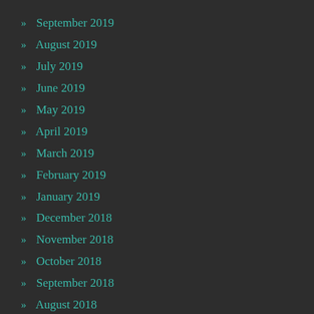» September 2019
» August 2019
» July 2019
» June 2019
» May 2019
» April 2019
» March 2019
» February 2019
» January 2019
» December 2018
» November 2018
» October 2018
» September 2018
» August 2018